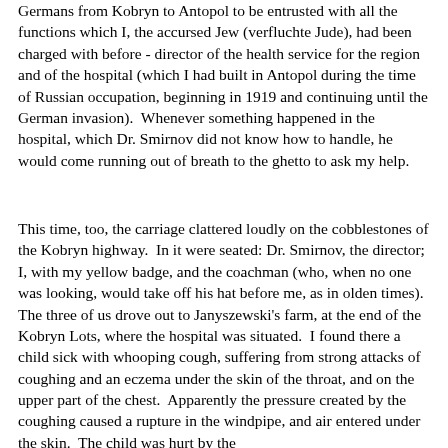Germans from Kobryn to Antopol to be entrusted with all the functions which I, the accursed Jew (verfluchte Jude), had been charged with before - director of the health service for the region and of the hospital (which I had built in Antopol during the time of Russian occupation, beginning in 1919 and continuing until the German invasion). Whenever something happened in the hospital, which Dr. Smirnov did not know how to handle, he would come running out of breath to the ghetto to ask my help.
This time, too, the carriage clattered loudly on the cobblestones of the Kobryn highway. In it were seated: Dr. Smirnov, the director; I, with my yellow badge, and the coachman (who, when no one was looking, would take off his hat before me, as in olden times). The three of us drove out to Janyszewski's farm, at the end of the Kobryn Lots, where the hospital was situated. I found there a child sick with whooping cough, suffering from strong attacks of coughing and an eczema under the skin of the throat, and on the upper part of the chest. Apparently the pressure created by the coughing caused a rupture in the windpipe, and air entered under the skin. The child was hurt by the